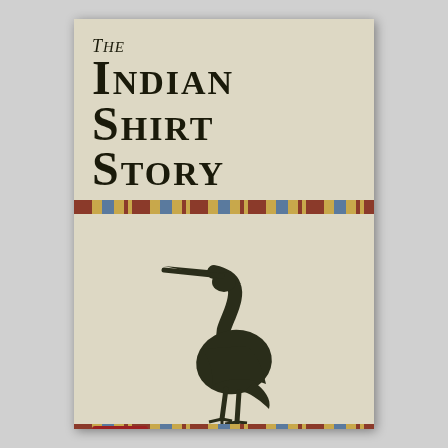The Indian Shirt Story
[Figure (illustration): Silhouette of a great blue heron standing, facing left, in dark olive/black color on a cream background book cover]
[Figure (logo): Musa Publishing award medal/badge with red banner reading 'Editor's Pick' above a gold circular medal with Musa Publishing text and decorative scrollwork]
Heather Lockman